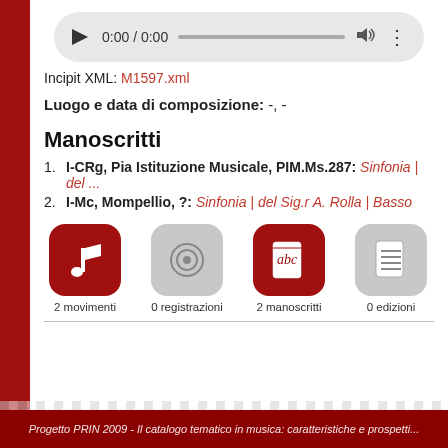[Figure (other): Audio player widget showing 0:00 / 0:00 with play button, progress bar, volume icon, and menu dots]
Incipit XML: M1597.xml
Luogo e data di composizione: -, -
Manoscritti
1. I-CRg, Pia Istituzione Musicale, PIM.Ms.287: Sinfonia | del ...
2. I-Mc, Mompellio, ?: Sinfonia | del Sig.r A. Rolla | Basso
[Figure (infographic): Four icons: 2 movimenti (red music note), 0 registrazioni (gray disc), 2 manoscritti (red abc document), 0 edizioni (gray document)]
Progetto PRIN 2009 - Il catalogo tematico in musica: caratteristiche e prospetti...